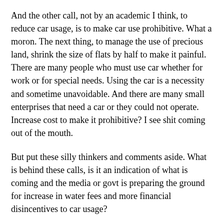And the other call, not by an academic I think, to reduce car usage, is to make car use prohibitive. What a moron. The next thing, to manage the use of precious land, shrink the size of flats by half to make it painful. There are many people who must use car whether for work or for special needs. Using the car is a necessity and sometime unavoidable. And there are many small enterprises that need a car or they could not operate. Increase cost to make it prohibitive? I see shit coming out of the mouth.
But put these silly thinkers and comments aside. What is behind these calls, is it an indication of what is coming and the media or govt is preparing the ground for increase in water fees and more financial disincentives to car usage?
What are the real problems to water usage and car usage? What are the causes to high water usage and car population? You dunno meh? Think 10m or 6.9m. If the govt is crazy to keep pumping more people into this piece of rock, water will always be not enough and no matter how high the price is, the people would still